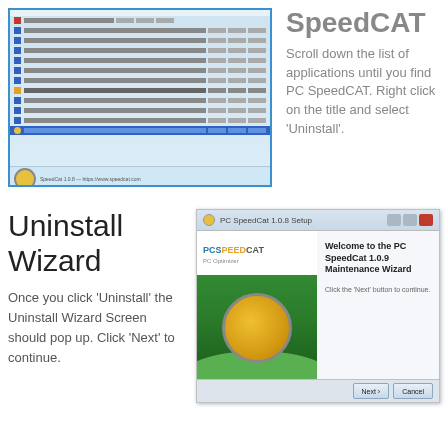[Figure (screenshot): Screenshot of Windows application list/Programs and Features showing a list of installed applications with PC SpeedCAT highlighted at the bottom]
SpeedCAT
Scroll down the list of applications until you find PC SpeedCAT. Right click on the title and select 'Uninstall'.
Uninstall Wizard
Once you click 'Uninstall' the Uninstall Wizard Screen should pop up. Click 'Next' to continue.
[Figure (screenshot): PC SpeedCat 1.0.8 Setup wizard dialog showing 'Welcome to the PC SpeedCat 1.0.9 Maintenance Wizard' with Next and Cancel buttons]